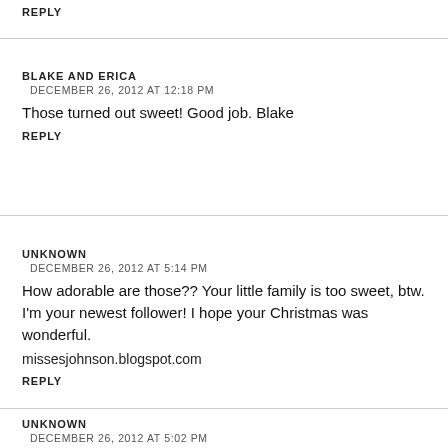REPLY
BLAKE AND ERICA
DECEMBER 26, 2012 AT 12:18 PM
Those turned out sweet! Good job. Blake
REPLY
UNKNOWN
DECEMBER 26, 2012 AT 5:14 PM
How adorable are those?? Your little family is too sweet, btw. I'm your newest follower! I hope your Christmas was wonderful.
missesjohnson.blogspot.com
REPLY
UNKNOWN
DECEMBER 26, 2012 AT 5:02 PM